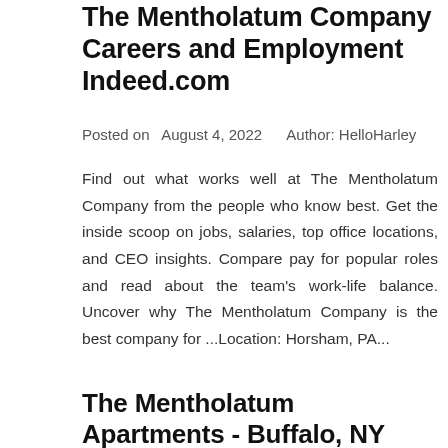The Mentholatum Company Careers and Employment Indeed.com
Posted on  August 4, 2022    Author: HelloHarley
Find out what works well at The Mentholatum Company from the people who know best. Get the inside scoop on jobs, salaries, top office locations, and CEO insights. Compare pay for popular roles and read about the team's work-life balance. Uncover why The Mentholatum Company is the best company for ...Location: Horsham, PA...
The Mentholatum Apartments - Buffalo, NY 14213